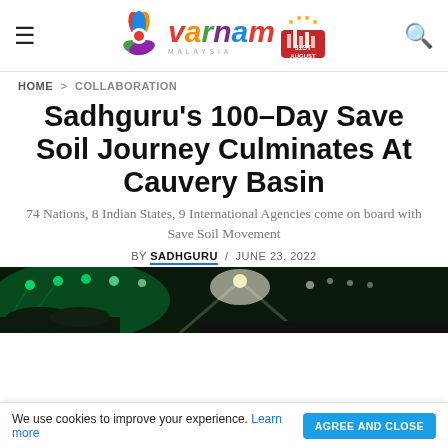Varnam Malaysia — site header with logo, hamburger menu, and search icon
HOME > COLLABORATION
Sadhguru's 100-Day Save Soil Journey Culminates At Cauvery Basin
74 Nations, 8 Indian States, 9 International Agencies come on board with Save Soil Movement
BY SADHGURU / JUNE 23, 2022
[Figure (photo): Event stage with green spotlights and stage lighting at night]
We use cookies to improve your experience. Learn more   AGREE AND CLOSE